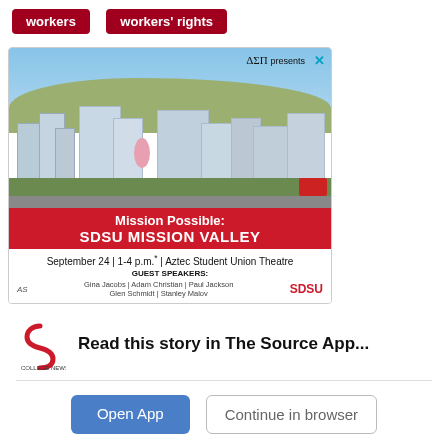workers
workers' rights
[Figure (photo): Advertisement for SDSU Mission Valley event. Shows aerial photo of SDSU Mission Valley campus with buildings, hills, and trees. Red banner reads 'Mission Possible: SDSU MISSION VALLEY'. Event details: September 24 | 1-4 p.m.* | Aztec Student Union Theatre. Guest Speakers: Gina Jacobs | Adam Christian | Paul Jackson | Glen Schmidt | Stanley Malov. Logos for AS and SDSU shown.]
Read this story in The Source App...
Open App
Continue in browser